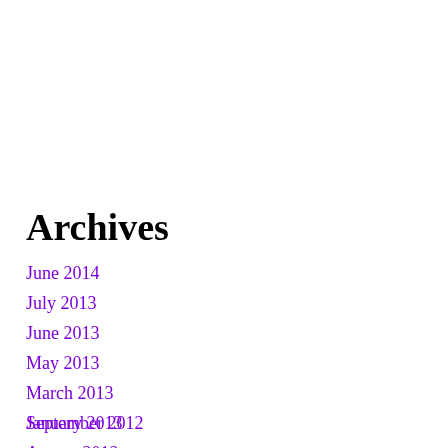Archives
June 2014
July 2013
June 2013
May 2013
March 2013
January 2013
September 2012
August 2012
July 2012